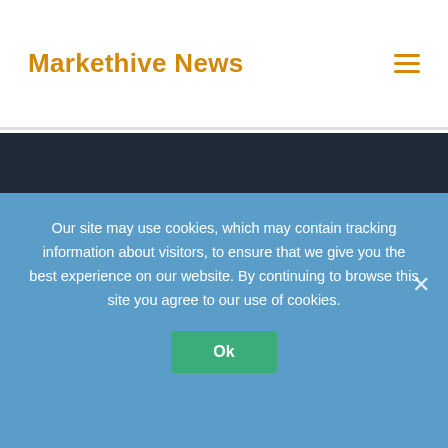Markethive News
Powered by Kahuna & WordPress.
©2019 Markethive News
[Figure (other): Orange scroll-to-top button with upward chevron arrow]
Privacy Policy
Our site may use cookies, which may contain tracking information about visitors, to ensure that we give you the best experience on our website. By continuing to browse this site you agree to our use of cookies.